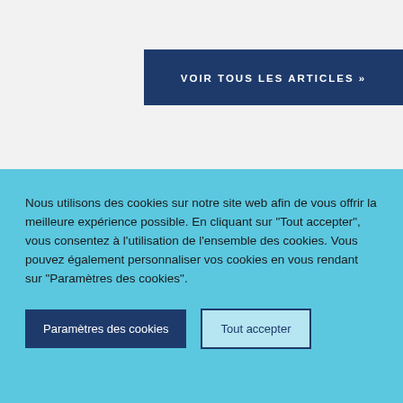[Figure (screenshot): Dark navy blue button with white uppercase text 'VOIR TOUS LES ARTICLES »' on a light grey background]
GALERIES
[Figure (screenshot): Dark navy blue horizontal bar below GALERIES section header]
Nous utilisons des cookies sur notre site web afin de vous offrir la meilleure expérience possible. En cliquant sur "Tout accepter", vous consentez à l'utilisation de l'ensemble des cookies. Vous pouvez également personnaliser vos cookies en vous rendant sur "Paramètres des cookies".
Paramètres des cookies
Tout accepter